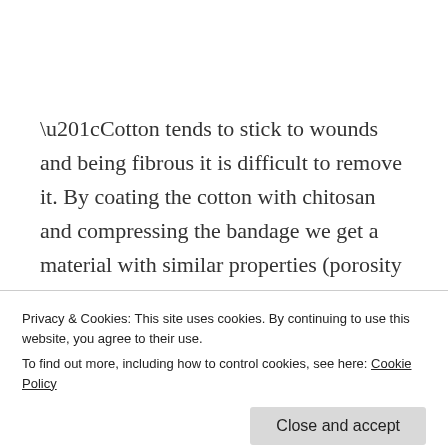“Cotton tends to stick to wounds and being fibrous it is difficult to remove it. By coating the cotton with chitosan and compressing the bandage we get a material with similar properties (porosity and ability to absorb water) as cotton but one that does not stick to the wound,” says Dr.
Privacy & Cookies: This site uses cookies. By continuing to use this website, you agree to their use.
To find out more, including how to control cookies, see here: Cookie Policy
Loading antimicrobials